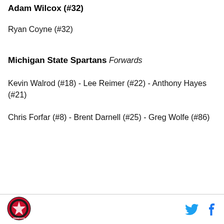Adam Wilcox (#32)
Ryan Coyne (#32)
Michigan State Spartans
Forwards
Kevin Walrod (#18) - Lee Reimer (#22) - Anthony Hayes (#21)
Chris Forfar (#8) - Brent Darnell (#25) - Greg Wolfe (#86)
[Figure (logo): Minnesota sports circular logo with red and black colors]